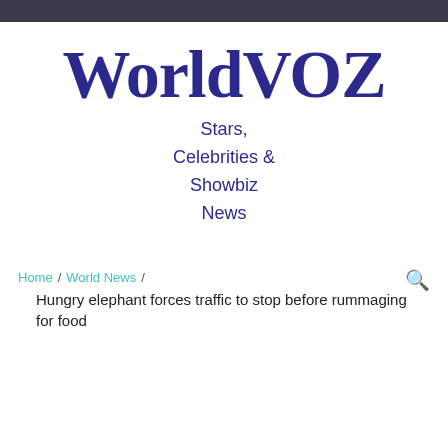WorldVOZ
Stars,
Celebrities &
Showbiz
News
Home / World News / Hungry elephant forces traffic to stop before rummaging for food